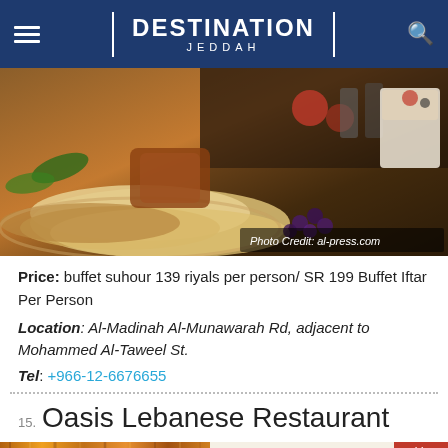DESTINATION JEDDAH
[Figure (photo): Food buffet spread with bread, fried items, desserts and fruits. Photo Credit: al-press.com]
Price: buffet suhour 139 riyals per person/ SR 199 Buffet Iftar Per Person
Location: Al-Madinah Al-Munawarah Rd, adjacent to Mohammed Al-Taweel St.
Tel: +966-12-6676655
15. Oasis Lebanese Restaurant
[Figure (photo): Two images: left shows wooden/amber colored background; right shows Oasis Lebanese Restaurant logo with Arabic text and a red badge with Arabic Ramadan greeting]